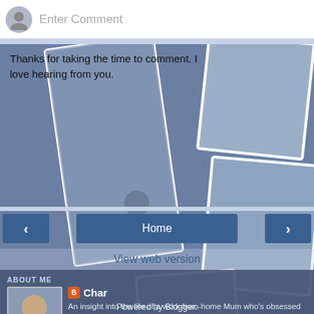[Figure (photo): Comment input area with avatar and placeholder text]
Thanks for taking the time to comment. I love hearing from you.
[Figure (photo): Background collage of running photos]
< Home >
View web version
ABOUT ME
[Figure (photo): Profile photo of Char]
Char
An insight into the life of a work-from-home Mum who's obsessed with running, making leotards and cupcakes and, of course, looking after a menagerie of 1 husband, 3 sons, 2 dogs, 2 hens and a cockatiel.
View my complete profile
Powered by Blogger.